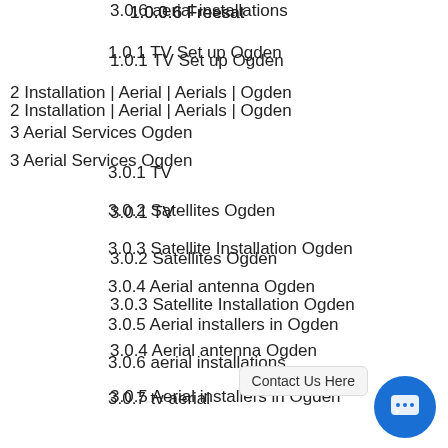1.0.0.6 Freesat
1.0.1 TV Set up Ogden
2 Installation | Aerial | Aerials | Ogden
3 Aerial Services Ogden
3.0.1 TV
3.0.2 Satellites Ogden
3.0.3 Satellite Installation Ogden
3.0.4 Aerial antenna Ogden
3.0.5 Aerial installers in Ogden
3.0.6 aerial installations
3.0.7 tv aerial
3.0.8 My tv aerial
3.0.9 Antenna [Contact Us Here] [partial]
3.0.10 Aerial Amplifier Ogden